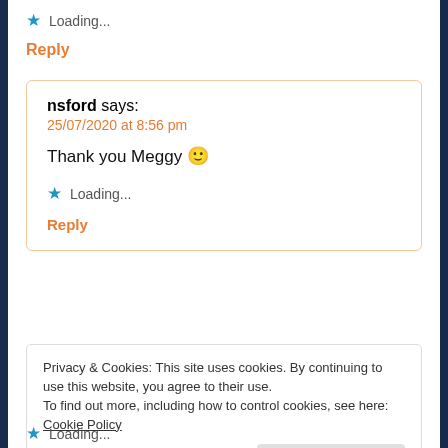Loading...
Reply
nsford says:
25/07/2020 at 8:56 pm

Thank you Meggy 🙂

Loading...

Reply
Privacy & Cookies: This site uses cookies. By continuing to use this website, you agree to their use.
To find out more, including how to control cookies, see here: Cookie Policy

Close and accept
Loading...